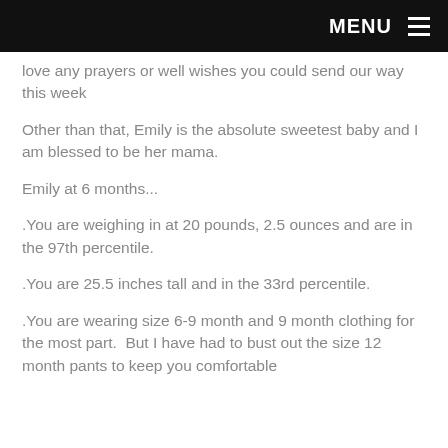MENU ≡
love any prayers or well wishes you could send our way this week
Other than that, Emily is the absolute sweetest baby and I am blessed to be her mama.
Emily at 6 months...
.You are weighing in at 20 pounds, 2.5 ounces and are in the 97th percentile.
.You are 25.5 inches tall and in the 33rd percentile.
.You are wearing size 6-9 month and 9 month clothing for the most part.  But I have had to bust out the size 12 month pants to keep you comfortable